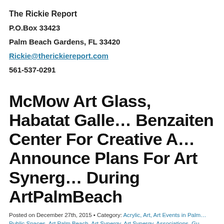The Rickie Report
P.O.Box 33423
Palm Beach Gardens, FL 33420
Rickie@therickiereport.com
561-537-0291
McMow Art Glass, Habatat Galle… Benzaiten Center For Creative A… Announce Plans For Art Synerg… During ArtPalmBeach
Posted on December 27th, 2015 • Category: Acrylic, Art, Art Events in Palm… Public Spaces, Art Palm Beach, Art Synergy, Art Synergy, Associations, Gu… Center for Creative Arts, Calls to Artists, Digital Art/Video, Fiber Arts, Glass… Local News and Events, Metal, Mixed Media, Musical arts, Oil, Pastel/Dra…